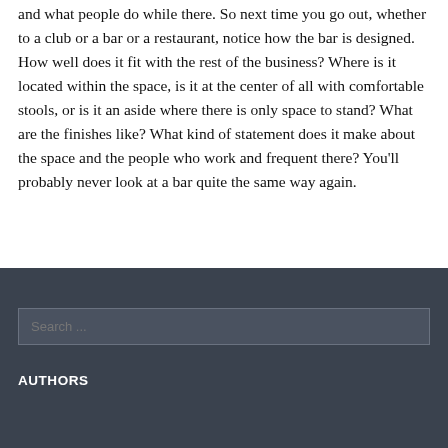and what people do while there.  So next time you go out, whether to a club or a bar or a restaurant, notice how the bar is designed.  How well does it fit with the rest of the business?  Where is it located within the space, is it at the center of all with comfortable stools, or is it an aside where there is only space to stand?  What are the finishes like?  What kind of statement does it make about the space and the people who work and frequent there?  You'll probably never look at a bar quite the same way again.
Search ...
AUTHORS